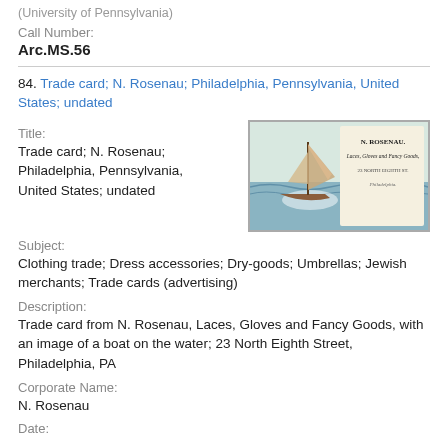(University of Pennsylvania)
Call Number:
Arc.MS.56
84. Trade card; N. Rosenau; Philadelphia, Pennsylvania, United States; undated
Title:
Trade card; N. Rosenau; Philadelphia, Pennsylvania, United States; undated
[Figure (photo): Trade card image showing a sailboat on water with text: N. ROSENAU. Laces, Gloves and Fancy Goods, 23 NORTH EIGHTH ST. PHILADELPHIA.]
Subject:
Clothing trade; Dress accessories; Dry-goods; Umbrellas; Jewish merchants; Trade cards (advertising)
Description:
Trade card from N. Rosenau, Laces, Gloves and Fancy Goods, with an image of a boat on the water; 23 North Eighth Street, Philadelphia, PA
Corporate Name:
N. Rosenau
Date: